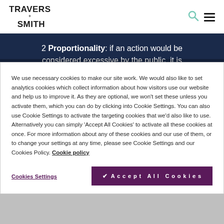TRAVERS SMITH
2 Proportionality: if an action would be considered excessive by the public, it is likely wrong
We use necessary cookies to make our site work. We would also like to set analytics cookies which collect information about how visitors use our website and help us to improve it. As they are optional, we won't set these unless you activate them, which you can do by clicking into Cookie Settings. You can also use Cookie Settings to activate the targeting cookies that we'd also like to use. Alternatively you can simply 'Accept All Cookies' to activate all these cookies at once. For more information about any of these cookies and our use of them, or to change your settings at any time, please see Cookie Settings and our Cookies Policy. Cookie policy
Cookies Settings
✔ Accept All Cookies